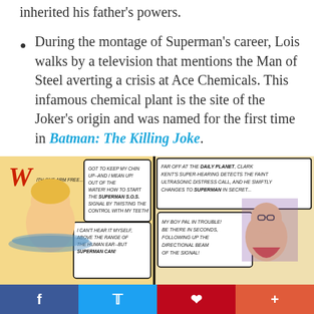inherited his father's powers.
During the montage of Superman's career, Lois walks by a television that mentions the Man of Steel averting a crisis at Ace Chemicals. This infamous chemical plant is the site of the Joker's origin and was named for the first time in Batman: The Killing Joke.
[Figure (illustration): Vintage comic strip panel showing a blonde person in water activating a Superman SOS signal by twisting a control with their teeth, and Clark Kent at the Daily Planet detecting the ultrasonic distress call and changing to Superman.]
f  Twitter  p  +